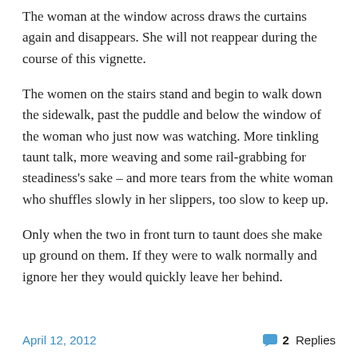The woman at the window across draws the curtains again and disappears. She will not reappear during the course of this vignette.
The women on the stairs stand and begin to walk down the sidewalk, past the puddle and below the window of the woman who just now was watching. More tinkling taunt talk, more weaving and some rail-grabbing for steadiness's sake – and more tears from the white woman who shuffles slowly in her slippers, too slow to keep up.
Only when the two in front turn to taunt does she make up ground on them. If they were to walk normally and ignore her they would quickly leave her behind.
April 12, 2012    💬 2 Replies